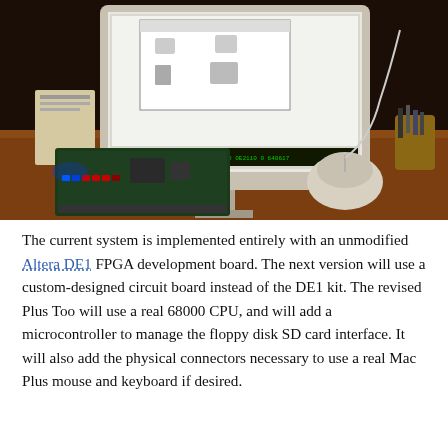[Figure (photo): Photograph of an Altera DE1 FPGA development board on a desk, with a CRT monitor in the background showing a graphical interface and green terminal text, and a computer mouse to the right of the board.]
The current system is implemented entirely with an unmodified Altera DE1 FPGA development board. The next version will use a custom-designed circuit board instead of the DE1 kit. The revised Plus Too will use a real 68000 CPU, and will add a microcontroller to manage the floppy disk SD card interface. It will also add the physical connectors necessary to use a real Mac Plus mouse and keyboard if desired.